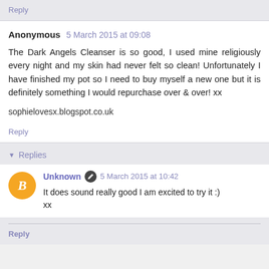Reply
Anonymous 5 March 2015 at 09:08
The Dark Angels Cleanser is so good, I used mine religiously every night and my skin had never felt so clean! Unfortunately I have finished my pot so I need to buy myself a new one but it is definitely something I would repurchase over & over! xx
sophielovesx.blogspot.co.uk
Reply
Replies
Unknown 5 March 2015 at 10:42
It does sound really good I am excited to try it :) xx
Reply